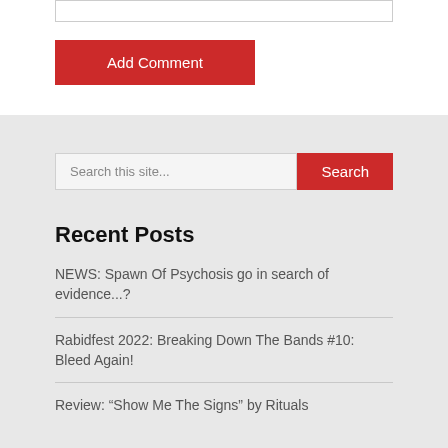[Figure (other): Input text box (form field) at the top of the page]
Add Comment
Search this site...
Search
Recent Posts
NEWS: Spawn Of Psychosis go in search of evidence...?
Rabidfest 2022: Breaking Down The Bands #10: Bleed Again!
Review: “Show Me The Signs” by Rituals